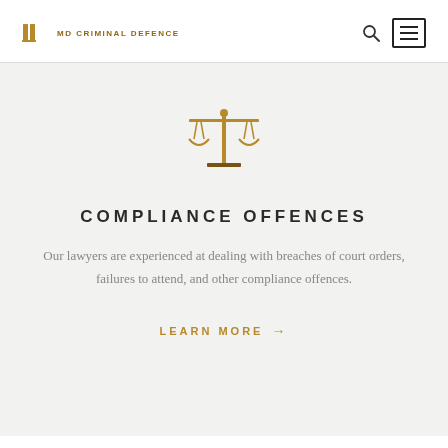MD CRIMINAL DEFENCE
[Figure (illustration): Gold scales of justice icon centered on a light gray background]
COMPLIANCE OFFENCES
Our lawyers are experienced at dealing with breaches of court orders, failures to attend, and other compliance offences.
LEARN MORE →